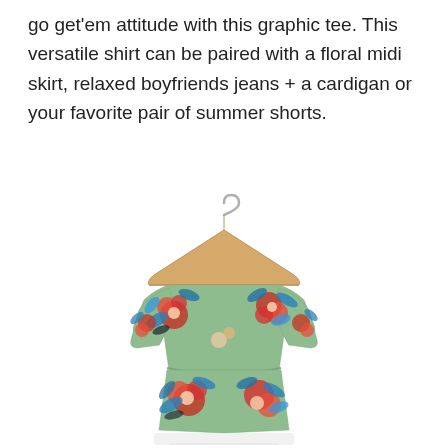go get'em attitude with this graphic tee. This versatile shirt can be paired with a floral midi skirt, relaxed boyfriends jeans + a cardigan or your favorite pair of summer shorts.
[Figure (photo): A floral midi dress with 3/4 sleeves on a wooden clothes hanger. The dress has a mint/sage green background with large red, pink, and blue floral print. The dress has a cinched waist with elastic gathering.]